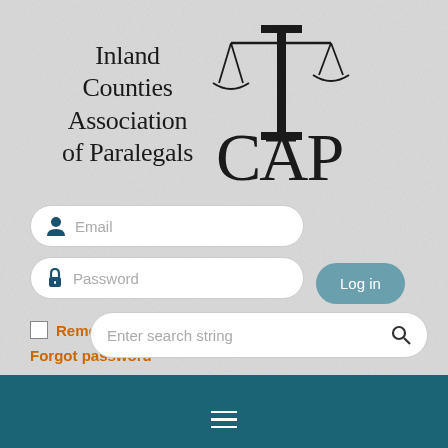[Figure (logo): Inland Counties Association of Paralegals (ICAP) logo with scales of justice and large decorative I and CAP lettering]
Email
Password
Log in
Remember me
Forgot password
Enter search string